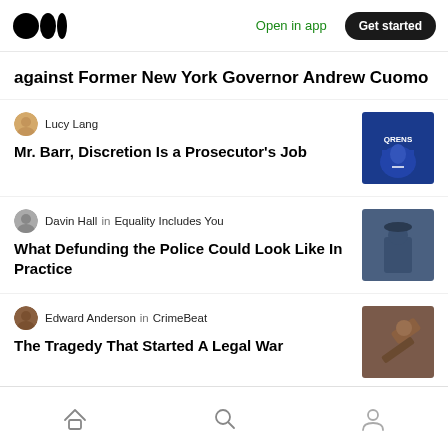Medium logo | Open in app | Get started
against Former New York Governor Andrew Cuomo
Lucy Lang
Mr. Barr, Discretion Is a Prosecutor's Job
Davin Hall in Equality Includes You
What Defunding the Police Could Look Like In Practice
Edward Anderson in CrimeBeat
The Tragedy That Started A Legal War
Home | Search | Profile